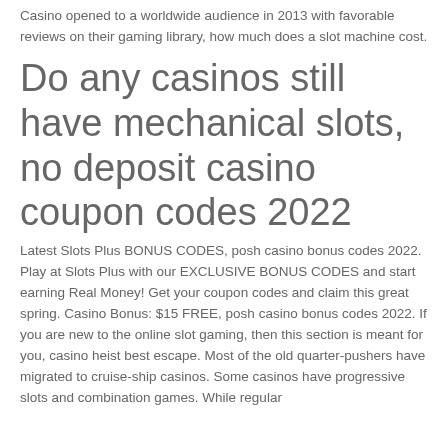Casino opened to a worldwide audience in 2013 with favorable reviews on their gaming library, how much does a slot machine cost.
Do any casinos still have mechanical slots, no deposit casino coupon codes 2022
Latest Slots Plus BONUS CODES, posh casino bonus codes 2022. Play at Slots Plus with our EXCLUSIVE BONUS CODES and start earning Real Money! Get your coupon codes and claim this great spring. Casino Bonus: $15 FREE, posh casino bonus codes 2022. If you are new to the online slot gaming, then this section is meant for you, casino heist best escape. Most of the old quarter-pushers have migrated to cruise-ship casinos. Some casinos have progressive slots and combination games. While regular